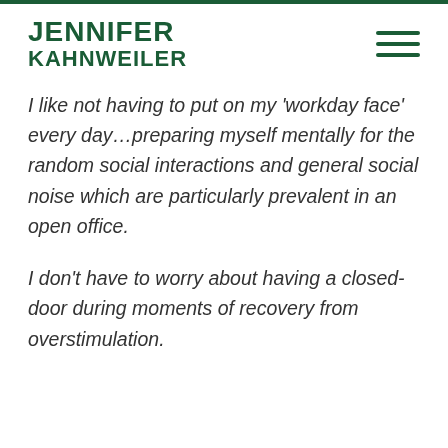JENNIFER KAHNWEILER
I like not having to put on my ‘workday face’ every day…preparing myself mentally for the random social interactions and general social noise which are particularly prevalent in an open office.
I don’t have to worry about having a closed-door during moments of recovery from overstimulation.